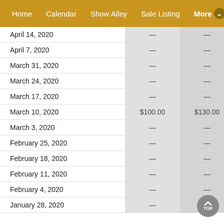Home   Calendar   Show Alley   Sale Listing   More
|  |  |  |
| --- | --- | --- |
| April 14, 2020 | — | — |
| April 7, 2020 | — | — |
| March 31, 2020 | — | — |
| March 24, 2020 | — | — |
| March 17, 2020 | — | — |
| March 10, 2020 | $100.00 | $130.00 |
| March 3, 2020 | — | — |
| February 25, 2020 | — | — |
| February 18, 2020 | — | — |
| February 11, 2020 | — | — |
| February 4, 2020 | — | — |
| January 28, 2020 | — | — |